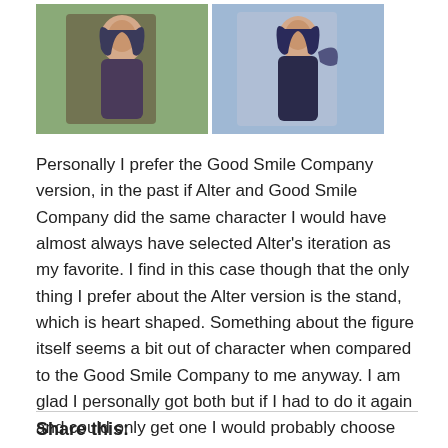[Figure (photo): Two side-by-side photographs of anime figurines with dark hair, posed outdoors against a natural background.]
Personally I prefer the Good Smile Company version, in the past if Alter and Good Smile Company did the same character I would have almost always have selected Alter's iteration as my favorite. I find in this case though that the only thing I prefer about the Alter version is the stand, which is heart shaped. Something about the figure itself seems a bit out of character when compared to the Good Smile Company to me anyway. I am glad I personally got both but if I had to do it again and could only get one I would probably choose the Good Smile Company iteration.
Share this: